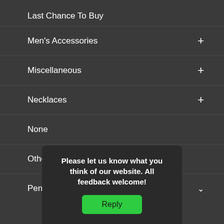Last Chance To Buy
Men's Accessories +
Miscellaneous +
Necklaces +
None
Other
Pendants ˅
Please let us know what you think of our website. All feedback welcome!
Reply